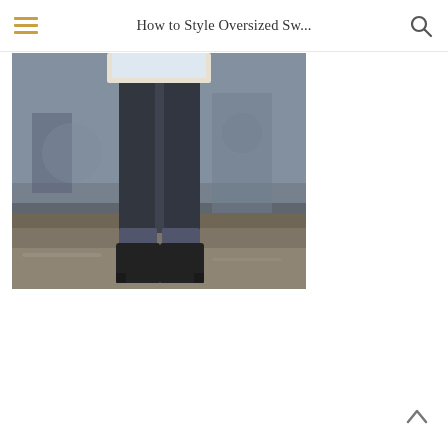How to Style Oversized Sw...
[Figure (photo): Street style fashion photo showing lower half of person wearing dark skinny jeans with cuffed hem and black ankle boots, standing on a wet urban pavement/sidewalk.]